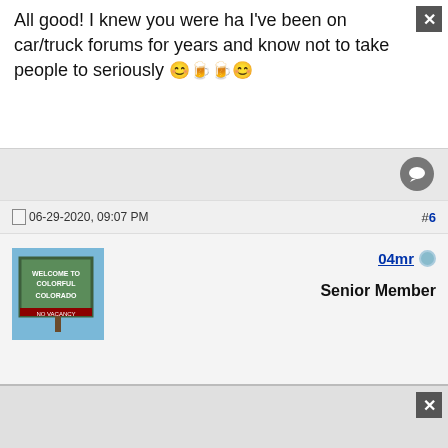All good! I knew you were ha I've been on car/truck forums for years and know not to take people to seriously 😊🍺🍺😊
06-29-2020, 09:07 PM
#6
04mr
Senior Member
Quote: